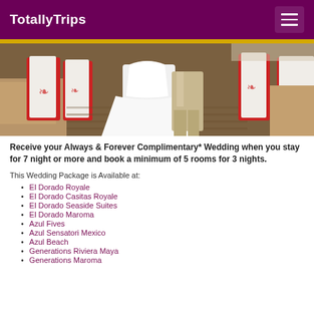TotallyTrips
[Figure (photo): Wedding scene with bride in white dress, red and white floral chair decorations, wooden floor, dining setup]
Receive your Always & Forever Complimentary* Wedding when you stay for 7 night or more and book a minimum of 5 rooms for 3 nights.
This Wedding Package is Available at:
El Dorado Royale
El Dorado Casitas Royale
El Dorado Seaside Suites
El Dorado Maroma
Azul Fives
Azul Sensatori Mexico
Azul Beach
Generations Riviera Maya
Generations Maroma